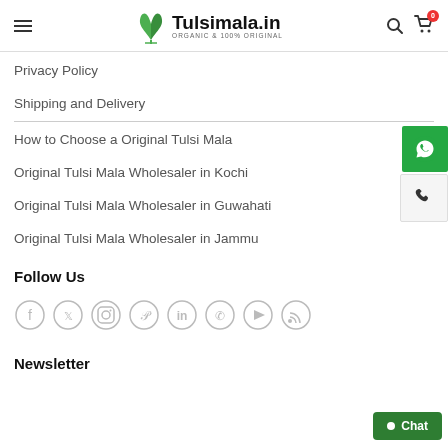Tulsimala.in — ORGANIC & 100% ORIGINAL
Privacy Policy
Shipping and Delivery
How to Choose a Original Tulsi Mala
Original Tulsi Mala Wholesaler in Kochi
Original Tulsi Mala Wholesaler in Guwahati
Original Tulsi Mala Wholesaler in Jammu
Follow Us
[Figure (infographic): Social media icons row: Facebook, Twitter, Instagram, Pinterest, LinkedIn, WhatsApp, YouTube, RSS]
Newsletter